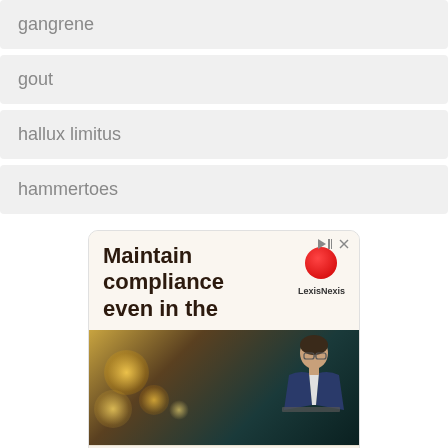gangrene
gout
hallux limitus
hammertoes
[Figure (infographic): LexisNexis advertisement with text 'Maintain compliance even in the' and an image of a man working on a laptop in a dark, bokeh-lit environment. Ad controls (play and close icons) visible in top right corner.]